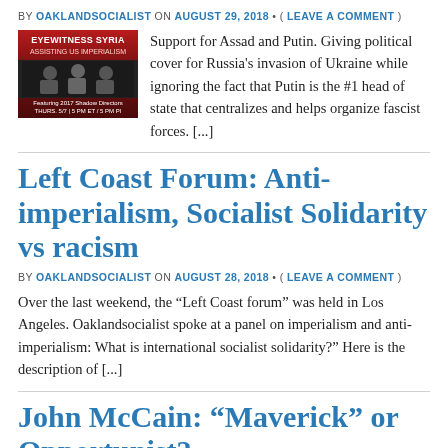BY OAKLANDSOCIALIST ON AUGUST 29, 2018 • ( LEAVE A COMMENT )
[Figure (photo): Red book cover thumbnail for 'Eyewitness Syria: Assisting US Imperialism' with people and event details]
Support for Assad and Putin. Giving political cover for Russia's invasion of Ukraine while ignoring the fact that Putin is the #1 head of state that centralizes and helps organize fascist forces. [...]
Left Coast Forum: Anti-imperialism, Socialist Solidarity vs racism
BY OAKLANDSOCIALIST ON AUGUST 28, 2018 • ( LEAVE A COMMENT )
Over the last weekend, the “Left Coast forum” was held in Los Angeles. Oaklandsocialist spoke at a panel on imperialism and anti-imperialism: What is international socialist solidarity?” Here is the description of [...]
John McCain: “Maverick” or Opportunist?